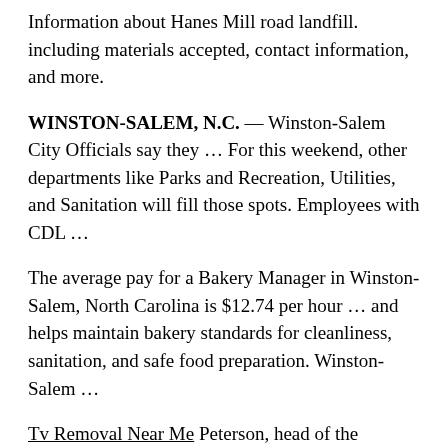Information about Hanes Mill road landfill. including materials accepted, contact information, and more.
WINSTON-SALEM, N.C. — Winston-Salem City Officials say they … For this weekend, other departments like Parks and Recreation, Utilities, and Sanitation will fill those spots. Employees with CDL …
The average pay for a Bakery Manager in Winston-Salem, North Carolina is $12.74 per hour … and helps maintain bakery standards for cleanliness, sanitation, and safe food preparation. Winston-Salem …
Tv Removal Near Me Peterson, head of the Louisiana Democratic Party, penned a description of the incident after WWL-TV on